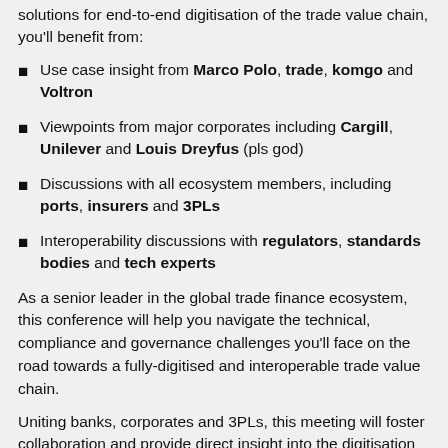solutions for end-to-end digitisation of the trade value chain, you'll benefit from:
Use case insight from Marco Polo, trade, komgo and Voltron
Viewpoints from major corporates including Cargill, Unilever and Louis Dreyfus (pls god)
Discussions with all ecosystem members, including ports, insurers and 3PLs
Interoperability discussions with regulators, standards bodies and tech experts
As a senior leader in the global trade finance ecosystem, this conference will help you navigate the technical, compliance and governance challenges you'll face on the road towards a fully-digitised and interoperable trade value chain.
Uniting banks, corporates and 3PLs, this meeting will foster collaboration and provide direct insight into the digitisation work being done and what each player in the ecosystem needs to succeed. No matter where you sit in the trade value chain, Blockchain for Global Trade...